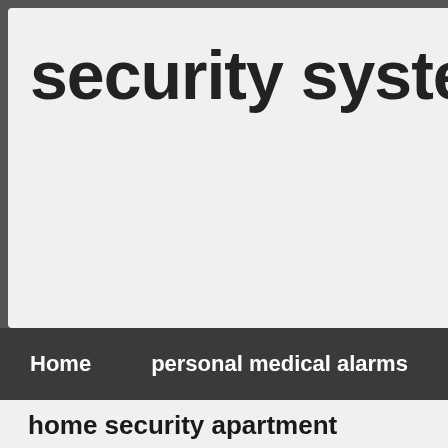security systems reside
Home    personal medical alarms    home monito
home security apartment
He took extra time to help me weigh whether I needed h